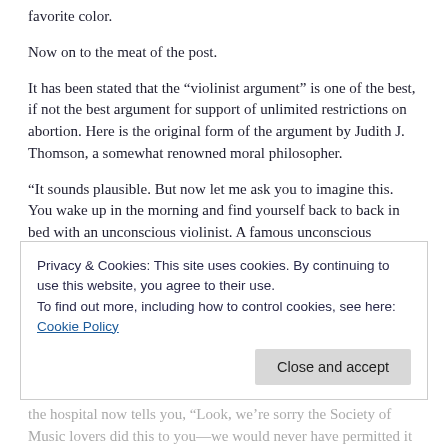favorite color.
Now on to the meat of the post.
It has been stated that the “violinist argument” is one of the best, if not the best argument for support of unlimited restrictions on abortion. Here is the original form of the argument by Judith J. Thomson, a somewhat renowned moral philosopher.
“It sounds plausible. But now let me ask you to imagine this. You wake up in the morning and find yourself back to back in bed with an unconscious violinist. A famous unconscious violinist. He has been found to have a fatal kidney ailment,
Privacy & Cookies: This site uses cookies. By continuing to use this website, you agree to their use.
To find out more, including how to control cookies, see here: Cookie Policy
the hospital now tells you, “Look, we’re sorry the Society of Music lovers did this to you—we would never have permitted it